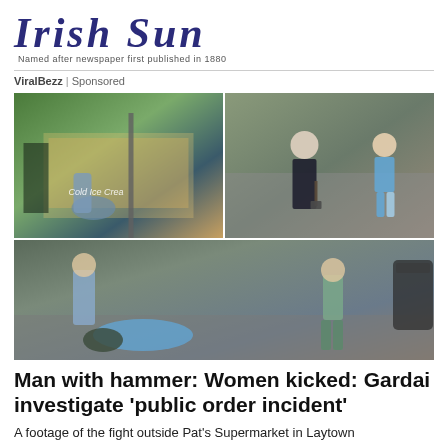[Figure (logo): Irish Sun newspaper logo with italic serif text in dark blue/purple and tagline 'Named after newspaper first published in 1880']
ViralBezz | Sponsored
[Figure (photo): Four-panel photo grid showing a street brawl: top-left shows a person bending over near a shop front with 'Cold Ice Crea' sign, top-right shows a bald man holding a hammer on a street with a woman in blue running away, bottom wide panel shows people on the ground and others involved in an altercation on a street.]
Man with hammer: Women kicked: Gardai investigate 'public order incident'
A footage of the fight outside Pat's Supermarket in Laytown